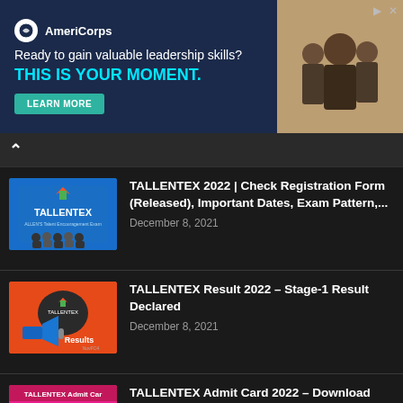[Figure (screenshot): AmeriCorps advertisement banner: 'Ready to gain valuable leadership skills? THIS IS YOUR MOMENT.' with LEARN MORE button]
TALLENTEX 2022 | Check Registration Form (Released), Important Dates, Exam Pattern,...
December 8, 2021
TALLENTEX Result 2022 – Stage-1 Result Declared
December 8, 2021
TALLENTEX Admit Card 2022 – Download ALLEN TALLENTEX Hall Ticket PDF...
December 8, 2021
TALLENTEX Answer Key 2022 – Download PDF For Class 7, 8,...
December 8, 2021